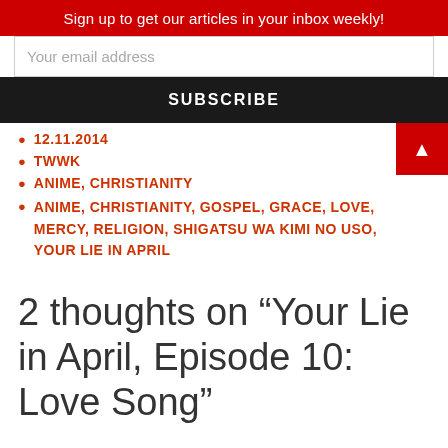Sign up to get our articles in your inbox weekly!
Your email address
SUBSCRIBE
12.11.2014
TWWK
ANIME, CHRISTIANITY
ANIME, CHRISTIANITY, GOSPEL, GRACE, LOVE, MERCY, RELIGION, SHIGATSU WA KIMI NO USO, YOUR LIE IN APRIL
2 thoughts on “Your Lie in April, Episode 10: Love Song”